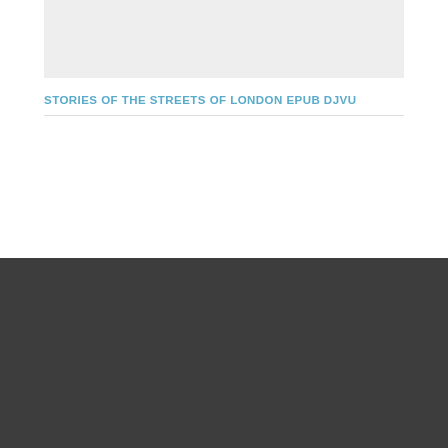[Figure (other): Gray placeholder box at top of page]
STORIES OF THE STREETS OF LONDON EPUB DJVU
POPULAR BOOKS
[Figure (other): Gray placeholder box for popular book]